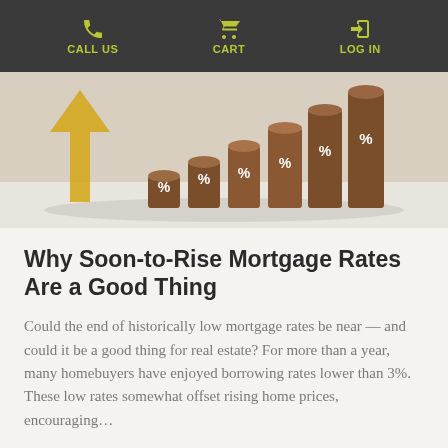CALL US   CART   LOG IN
[Figure (photo): Six wooden cylindrical blocks arranged in ascending height like a bar chart, each with a white percent sign (%) printed on them, with a yellow upward-pointing arrow behind them on a light background.]
Why Soon-to-Rise Mortgage Rates Are a Good Thing
Could the end of historically low mortgage rates be near — and could it be a good thing for real estate? For more than a year, many homebuyers have enjoyed borrowing rates lower than 3%. These low rates somewhat offset rising home prices, encouraging…